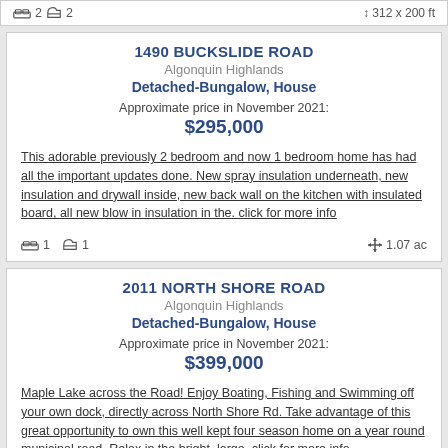2  2  ↕ 312 x 200 ft
1490 BUCKSLIDE ROAD
Algonquin Highlands
Detached-Bungalow, House
Approximate price in November 2021:
$295,000
This adorable previously 2 bedroom and now 1 bedroom home has had all the important updates done. New spray insulation underneath, new insulation and drywall inside, new back wall on the kitchen with insulated board, all new blow in insulation in the. click for more info
1  1  ✛ 1.07 ac
2011 NORTH SHORE ROAD
Algonquin Highlands
Detached-Bungalow, House
Approximate price in November 2021:
$399,000
Maple Lake across the Road! Enjoy Boating, Fishing and Swimming off your own dock, directly across North Shore Rd. Take advantage of this great opportunity to own this well kept four season home on a year round municipal road. Relax in the bright, large. click for more info
1  1  ✛ under 1/2 acre